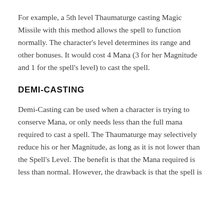For example, a 5th level Thaumaturge casting Magic Missile with this method allows the spell to function normally. The character's level determines its range and other bonuses. It would cost 4 Mana (3 for her Magnitude and 1 for the spell's level) to cast the spell.
DEMI-CASTING
Demi-Casting can be used when a character is trying to conserve Mana, or only needs less than the full mana required to cast a spell. The Thaumaturge may selectively reduce his or her Magnitude, as long as it is not lower than the Spell's Level. The benefit is that the Mana required is less than normal. However, the drawback is that the spell is